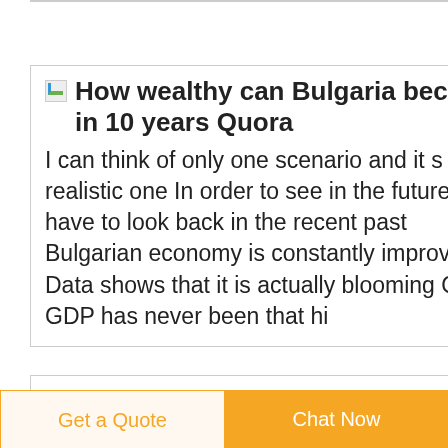How wealthy can Bulgaria become in 10 years Quora
I can think of only one scenario and it s the realistic one In order to see in the future we have to look back in the recent past Bulgarian economy is constantly improving Data shows that it is actually blooming Our GDP has never been that hi
Google